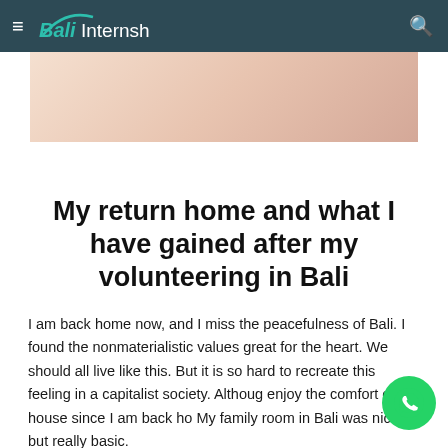Bali Internships
[Figure (photo): Hero image with soft peach/skin-tone gradient background, partial view of a person]
My return home and what I have gained after my volunteering in Bali
I am back home now, and I miss the peacefulness of Bali. I found the nonmaterialistic values great for the heart. We should all live like this. But it is so hard to recreate this feeling in a capitalist society. Although enjoy the comfort of my house since I am back ho... My family room in Bali was nice but really basic.